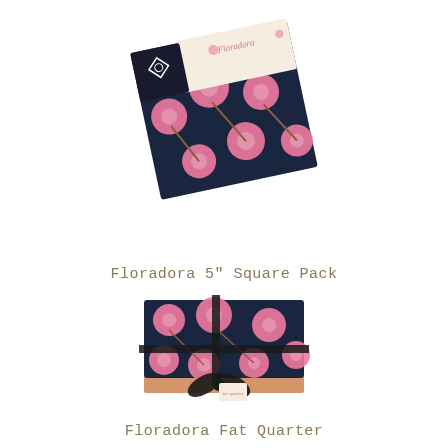[Figure (photo): Floradora 5 inch Square Pack fabric bundle with dark navy background and pink floral pattern, shown at an angle with a branded label/tag.]
Floradora 5" Square Pack
[Figure (photo): Floradora Fat Quarter fabric bundle with dark navy background and pink floral pattern, tied with a black ribbon bow and a small tag.]
Floradora Fat Quarter